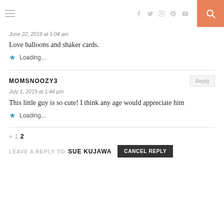Navigation header with hamburger menu, social icons (Facebook, Twitter, Instagram, Pinterest, YouTube), and search button
June 22, 2019 at 5:04 am
Love balloons and shaker cards.
★ Loading...
MOMSNOOZY3
July 1, 2019 at 1:44 pm
This little guy is so cute! I think any age would appreciate him
★ Loading...
« 1 2
LEAVE A REPLY TO SUE KUJAWA   CANCEL REPLY